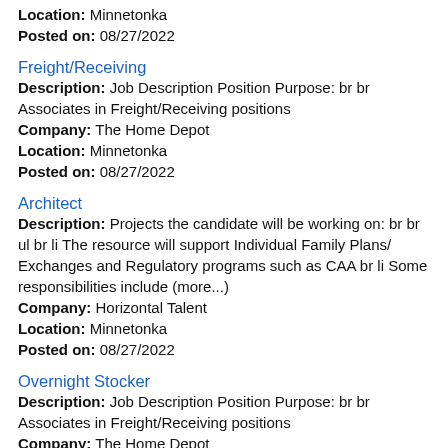Location: Minnetonka
Posted on: 08/27/2022
Freight/Receiving
Description: Job Description Position Purpose: br br Associates in Freight/Receiving positions
Company: The Home Depot
Location: Minnetonka
Posted on: 08/27/2022
Architect
Description: Projects the candidate will be working on: br br ul br li The resource will support Individual Family Plans/ Exchanges and Regulatory programs such as CAA br li Some responsibilities include (more...)
Company: Horizontal Talent
Location: Minnetonka
Posted on: 08/27/2022
Overnight Stocker
Description: Job Description Position Purpose: br br Associates in Freight/Receiving positions
Company: The Home Depot
Location: Minnetonka